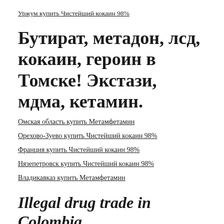Уржум купить Чистейший кокаин 98%
Бутират, метадон, лсд, кокаин, героин в Томске! Экстази, мдма, кетамин.
Омская область купить Метамфетамин
Орехово-Зуево купить Чистейший кокаин 98%
Франция купить Чистейший кокаин 98%
Нязепетровск купить Чистейший кокаин 98%
Владикавказ купить Метамфетамин
Illegal drug trade in Colombia